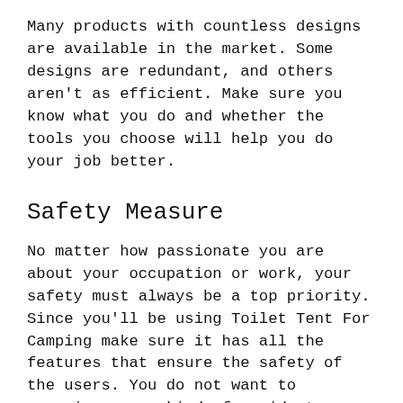Many products with countless designs are available in the market. Some designs are redundant, and others aren't as efficient. Make sure you know what you do and whether the tools you choose will help you do your job better.
Safety Measure
No matter how passionate you are about your occupation or work, your safety must always be a top priority. Since you'll be using Toilet Tent For Camping make sure it has all the features that ensure the safety of the users. You do not want to experience any kind of accident.
Don't just pick any brand, no matter how